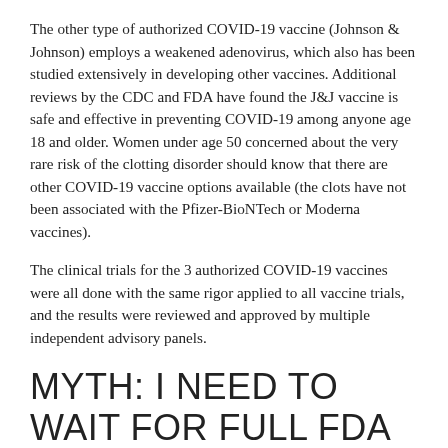The other type of authorized COVID-19 vaccine (Johnson & Johnson) employs a weakened adenovirus, which also has been studied extensively in developing other vaccines. Additional reviews by the CDC and FDA have found the J&J vaccine is safe and effective in preventing COVID-19 among anyone age 18 and older. Women under age 50 concerned about the very rare risk of the clotting disorder should know that there are other COVID-19 vaccine options available (the clots have not been associated with the Pfizer-BioNTech or Moderna vaccines).
The clinical trials for the 3 authorized COVID-19 vaccines were all done with the same rigor applied to all vaccine trials, and the results were reviewed and approved by multiple independent advisory panels.
MYTH: I NEED TO WAIT FOR FULL FDA APPROVAL TO GET VACCINATED.